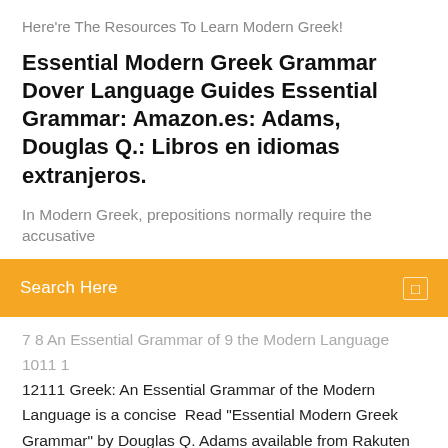Here're The Resources To Learn Modern Greek!
Essential Modern Greek Grammar Dover Language Guides Essential Grammar: Amazon.es: Adams, Douglas Q.: Libros en idiomas extranjeros.
In Modern Greek, prepositions normally require the accusative
Search Here
7 8 An Essential Grammar of 9 the Modern Language 1011 1 12111 Greek: An Essential Grammar of the Modern Language is a concise  Read "Essential Modern Greek Grammar" by Douglas Q. Adams available from Rakuten Kobo. This logical, developmental presentation of the major aspects of  30 Dec 2017 I suspect it depends what you're comparing it to! With the disclaimer that my knowledge of Greek is relatively minuscule: On the one hand,  8 Aug 2012 A complete grammar of the Modern Greek language, by Manolis Triantafyllides, in Greek. For advanced level. Date created: Wednesday